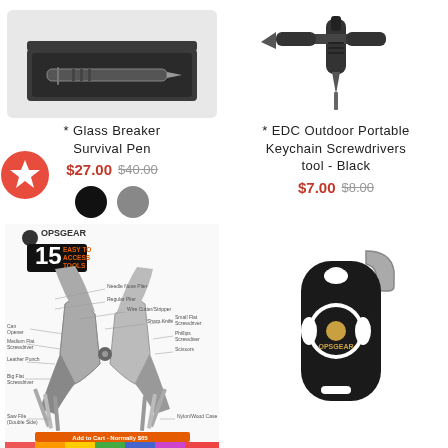[Figure (photo): Glass Breaker Survival Pen in a box, top-left product image]
[Figure (photo): EDC Outdoor Portable Keychain Screwdrivers tool - Black, top-right product image]
* Glass Breaker Survival Pen
$27.00 $40.00
* EDC Outdoor Portable Keychain Screwdrivers tool - Black
$7.00 $8.00
[Figure (photo): OPSGEAR 15 Easy to Access Tools multi-tool plier diagram with labeled parts]
[Figure (photo): OPSGEAR black carabiner multi-tool / bottle opener device]